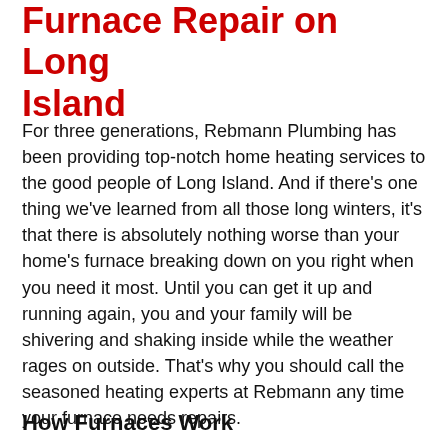Furnace Repair on Long Island
For three generations, Rebmann Plumbing has been providing top-notch home heating services to the good people of Long Island. And if there's one thing we've learned from all those long winters, it's that there is absolutely nothing worse than your home's furnace breaking down on you right when you need it most. Until you can get it up and running again, you and your family will be shivering and shaking inside while the weather rages on outside. That's why you should call the seasoned heating experts at Rebmann any time your furnace needs repairs.
How Furnaces Work